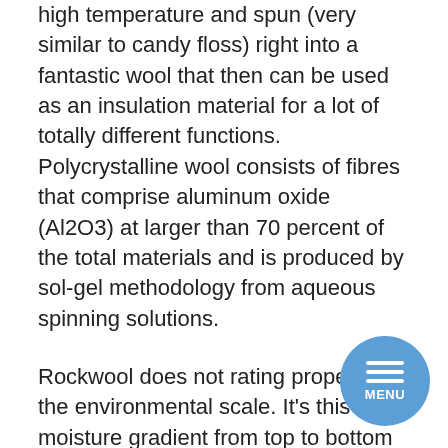high temperature and spun (very similar to candy floss) right into a fantastic wool that then can be used as an insulation material for a lot of totally different functions. Polycrystalline wool consists of fibres that comprise aluminum oxide (Al2O3) at larger than 70 percent of the total materials and is produced by sol-gel methodology from aqueous spinning solutions.
Rockwool does not rating properly on the environmental scale. It's this moisture gradient from top to bottom of the rock wool materials which make it such an excellent hydroponic substrate, but on the identical time growers who are usually not conscious of this property can make the mistake of pondering the rock wool is too dry on the floor and over irrigate the crops despite having loads of nutrient resolution assist deep down within the root system. I cite and by no means reference any explicit compa am talking about mineral wool as a rising media on
[Figure (other): Circular menu button overlay in blue with three horizontal white lines and the label MENU]